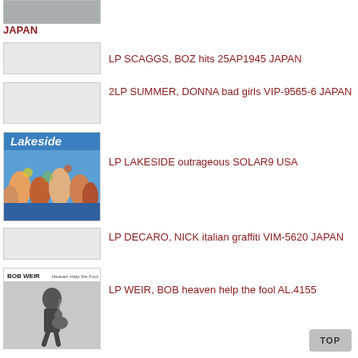[Figure (photo): Partial album cover image at top, cropped]
JAPAN
LP SCAGGS, BOZ hits 25AP1945 JAPAN
2LP SUMMER, DONNA bad girls VIP-9565-6 JAPAN
[Figure (photo): LP LAKESIDE outrageous album cover with colorful cartoon crowd scene]
LP LAKESIDE outrageous SOLAR9 USA
LP DECARO, NICK italian graffiti VIM-5620 JAPAN
[Figure (photo): BOB WEIR album cover - black and white photo of man with guitar]
LP WEIR, BOB heaven help the fool AL.4155